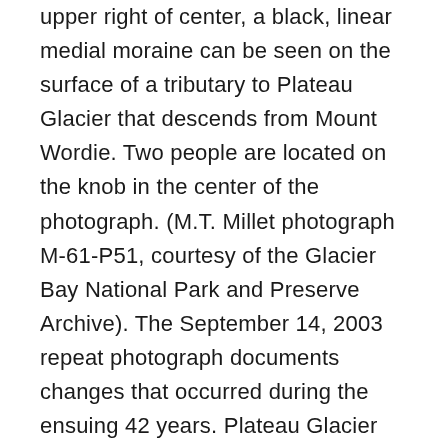upper right of center, a black, linear medial moraine can be seen on the surface of a tributary to Plateau Glacier that descends from Mount Wordie. Two people are located on the knob in the center of the photograph. (M.T. Millet photograph M-61-P51, courtesy of the Glacier Bay National Park and Preserve Archive). The September 14, 2003 repeat photograph documents changes that occurred during the ensuing 42 years. Plateau Glacier retreated out of the field of view and has all but melted away, after leaving a small remnant, Plateau Remnant, on the flanks of the Bruce Hills (northeast of the field of view). The tributary glacier that formerly supported